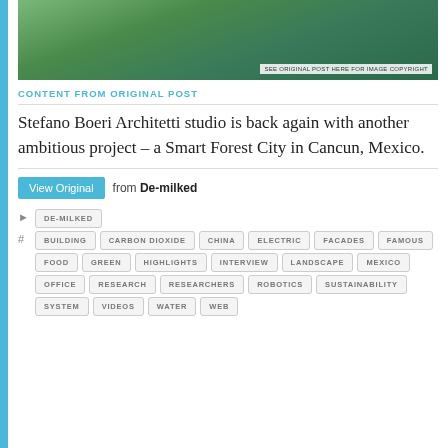[Figure (photo): Aerial view of Smart Forest City project in Cancun, Mexico, showing green forest-covered structures with water features. Copyright notice overlay reads: SEE ORIGINAL POST HERE FOR IMAGE COPYRIGHT]
CONTENT FROM ORIGINAL POST
Stefano Boeri Architetti studio is back again with another ambitious project – a Smart Forest City in Cancun, Mexico.
View Original from De-milked
DE-MILKED
BUILDING  CARBON DIOXIDE  CHINA  ELECTRIC  FACADES  FAMOUS  FOOD  GREEN  HIGHLIGHTS  INTERVIEW  LANDSCAPE  MEXICO  OFFICE  RESEARCH  RESEARCHERS  ROBOTICS  SUSTAINABILITY  SYSTEM  VIDEOS  WATER  WEB